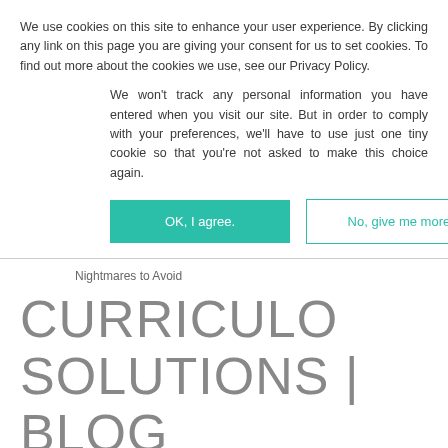We use cookies on this site to enhance your user experience. By clicking any link on this page you are giving your consent for us to set cookies. To find out more about the cookies we use, see our Privacy Policy.
We won't track any personal information you have entered when you visit our site. But in order to comply with your preferences, we'll have to use just one tiny cookie so that you're not asked to make this choice again.
OK, I agree.
No, give me more info.
Nightmares to Avoid
CURRICULO SOLUTIONS | BLOG
Interview tips: Four Cringe-Worthy Interview Nightmares to Avoid